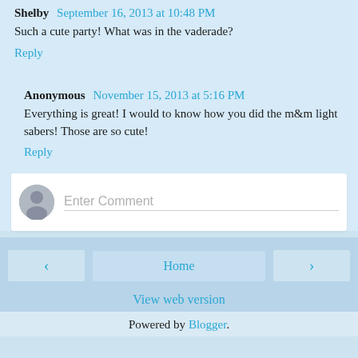Shelby  September 16, 2013 at 10:48 PM
Such a cute party! What was in the vaderade?
Reply
Anonymous  November 15, 2013 at 5:16 PM
Everything is great! I would to know how you did the m&m light sabers! Those are so cute!
Reply
[Figure (other): Comment input box with user avatar placeholder and Enter Comment text field]
< Home > View web version Powered by Blogger.